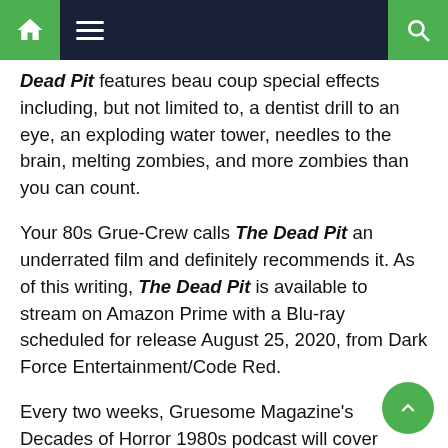navigation bar with home, menu, and search icons
Dead Pit features beau coup special effects including, but not limited to, a dentist drill to an eye, an exploding water tower, needles to the brain, melting zombies, and more zombies than you can count.
Your 80s Grue-Crew calls The Dead Pit an underrated film and definitely recommends it. As of this writing, The Dead Pit is available to stream on Amazon Prime with a Blu-ray scheduled for release August 25, 2020, from Dark Force Entertainment/Code Red.
Every two weeks, Gruesome Magazine's Decades of Horror 1980s podcast will cover another horror film from the 1980s. The film for their next episode is Hellbound: Hellraiser II (1988), chosen by Crystal.
Please let them know how they're doing! They want to hear